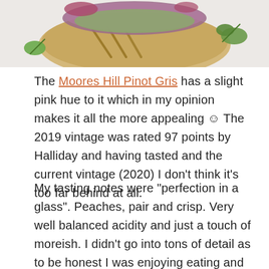[Figure (photo): Top portion of a food photo showing a grilled flatbread/tortilla with toppings including what appears to be purple cabbage slaw and green cilantro on a light grey/white surface]
The Moores Hill Pinot Gris has a slight pink hue to it which in my opinion makes it all the more appealing ☺ The 2019 vintage was rated 97 points by Halliday and having tasted and the current vintage (2020) I don't think it's too far behind at all.
My tasting notes were "perfection in a glass". Peaches, pair and crisp. Very well balanced acidity and just a touch of moreish. I didn't go into tons of detail as to be honest I was enjoying eating and drinking too much. Head to their site and read more about their wonderful wines!